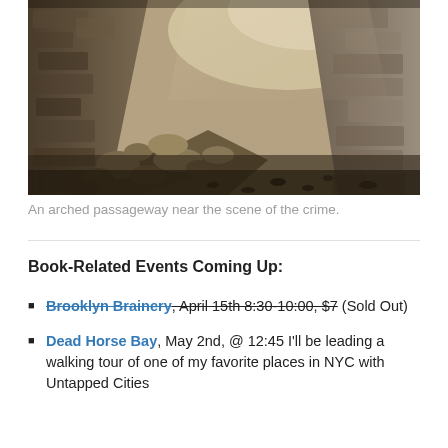[Figure (photo): Photo of an arched stone passageway with rubble and dirt, near the scene of a crime.]
An arched passageway near the scene of the crime.
Book-Related Events Coming Up:
Brooklyn Brainery, April 15th 8:30-10:00, $7 (Sold Out)
Dead Horse Bay, May 2nd, @ 12:45 I'll be leading a walking tour of one of my favorite places in NYC with Untapped Cities